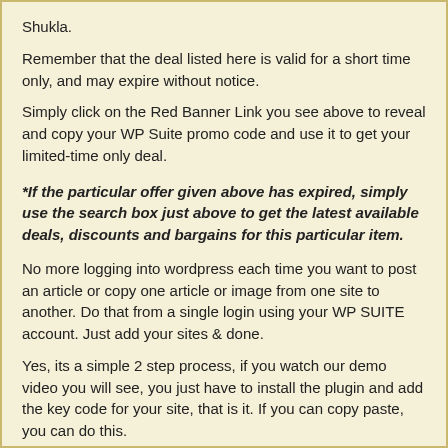Shukla.
Remember that the deal listed here is valid for a short time only, and may expire without notice.
Simply click on the Red Banner Link you see above to reveal and copy your WP Suite promo code and use it to get your limited-time only deal.
*If the particular offer given above has expired, simply use the search box just above to get the latest available deals, discounts and bargains for this particular item.
No more logging into wordpress each time you want to post an article or copy one article or image from one site to another. Do that from a single login using your WP SUITE account. Just add your sites & done.
Yes, its a simple 2 step process, if you watch our demo video you will see, you just have to install the plugin and add the key code for your site, that is it. If you can copy paste, you can do this.